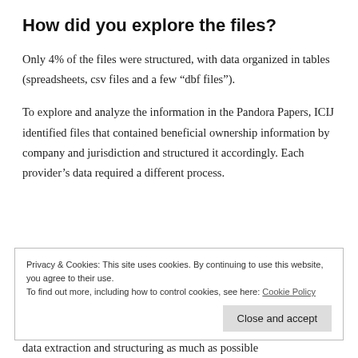How did you explore the files?
Only 4% of the files were structured, with data organized in tables (spreadsheets, csv files and a few “dbf files”).
To explore and analyze the information in the Pandora Papers, ICIJ identified files that contained beneficial ownership information by company and jurisdiction and structured it accordingly. Each provider’s data required a different process.
Privacy & Cookies: This site uses cookies. By continuing to use this website, you agree to their use.
To find out more, including how to control cookies, see here: Cookie Policy
[Close and accept]
data extraction and structuring as much as possible